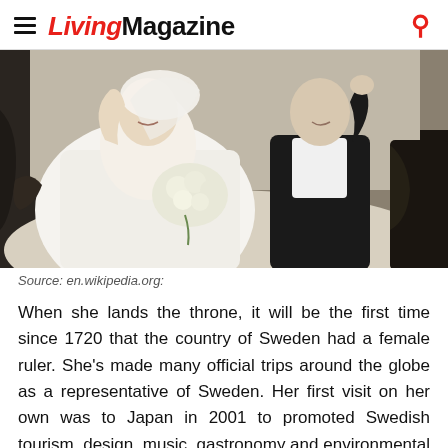LivingMagazine
[Figure (photo): A bride in a white off-shoulder gown and groom in black tails waving from a carriage, holding a white floral bouquet.]
Source: en.wikipedia.org:
When she lands the throne, it will be the first time since 1720 that the country of Sweden had a female ruler. She’s made many official trips around the globe as a representative of Sweden. Her first visit on her own was to Japan in 2001 to promoted Swedish tourism, design, music, gastronomy and environmental sustainability. That same year, Victoria traveled to the West Coast of the United